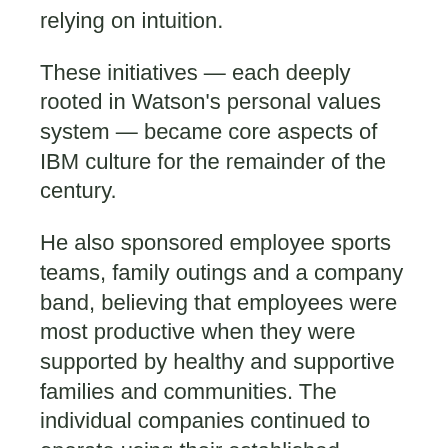relying on intuition.
These initiatives — each deeply rooted in Watson's personal values system — became core aspects of IBM culture for the remainder of the century.
He also sponsored employee sports teams, family outings and a company band, believing that employees were most productive when they were supported by healthy and supportive families and communities. The individual companies continued to operate using their established names until the holding company was eliminated in With business reports and director information, you can: Our reports provide predictive credit scores and recommend credit limits for businesses.
How long will it take to receive my report. He returned to targeting private businesses in the United States and abroad, attempting to identify industry applications for his automatic punching, tabulating and sorting machines